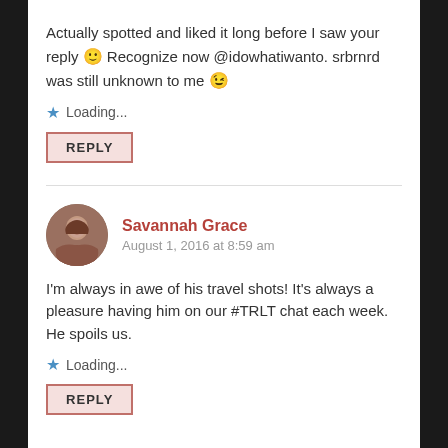Actually spotted and liked it long before I saw your reply 🙂 Recognize now @idowhatiwanto. srbrnrd was still unknown to me 😉
★ Loading...
REPLY
Savannah Grace
August 1, 2016 at 8:59 am
I'm always in awe of his travel shots! It's always a pleasure having him on our #TRLT chat each week. He spoils us.
★ Loading...
REPLY